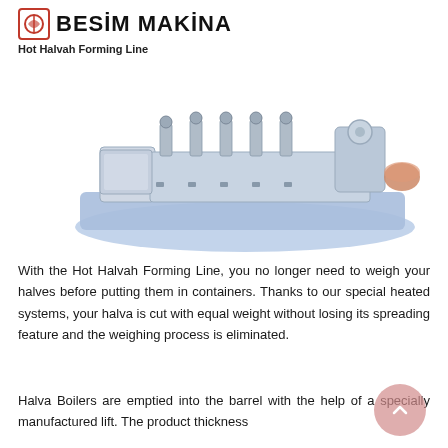BESİM MAKİNA
Hot Halvah Forming Line
[Figure (photo): 3D rendering of Hot Halvah Forming Line machine — an industrial production line on a blue base with multiple forming/cutting stations, rollers, and a hopper bowl on a light background.]
With the Hot Halvah Forming Line, you no longer need to weigh your halves before putting them in containers. Thanks to our special heated systems, your halva is cut with equal weight without losing its spreading feature and the weighing process is eliminated.
Halva Boilers are emptied into the barrel with the help of a specially manufactured lift. The product thickness is then adjusted through the barrel rollers. The